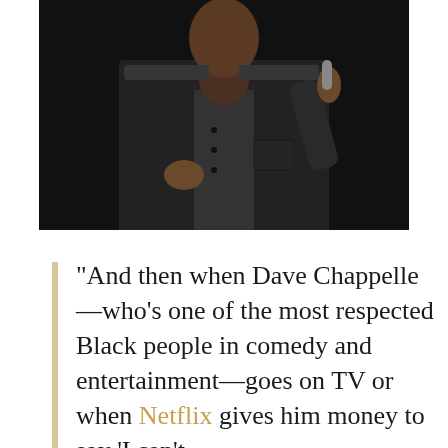[Figure (photo): A man in a dark grey suit holding a microphone, photographed against a dark background, performing on stage.]
"And then when Dave Chappelle—who's one of the most respected Black people in comedy and entertainment—goes on TV or when Netflix gives him money to say 'I can't